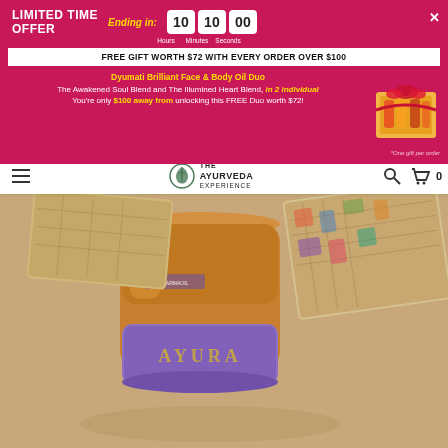LIMITED TIME OFFER — Ending in: 10 Hours 10 Minutes 00 Seconds
FREE GIFT WORTH $72 WITH EVERY ORDER OVER $100
Dyumati Brilliant Face & Body Oil Duo — The Awakened Soul Blend and The Illumined Heart Blend, in 2 individual — You're only $100 away from unlocking this FREE Duo worth $72!
[Figure (photo): Gift box with orange, yellow and amber oil bottles tied with a red ribbon bow]
[Figure (logo): The Ayurveda Experience logo with leaf emblem]
[Figure (photo): AYURA branded product canister with lavender/purple and gold color, with ornate patterned box packaging on warm beige background]